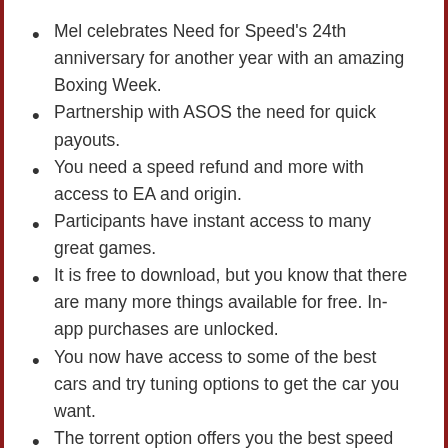Mel celebrates Need for Speed's 24th anniversary for another year with an amazing Boxing Week.
Partnership with ASOS the need for quick payouts.
You need a speed refund and more with access to EA and origin.
Participants have instant access to many great games.
It is free to download, but you know that there are many more things available for free. In-app purchases are unlocked.
You now have access to some of the best cars and try tuning options to get the car you want.
The torrent option offers you the best speed as